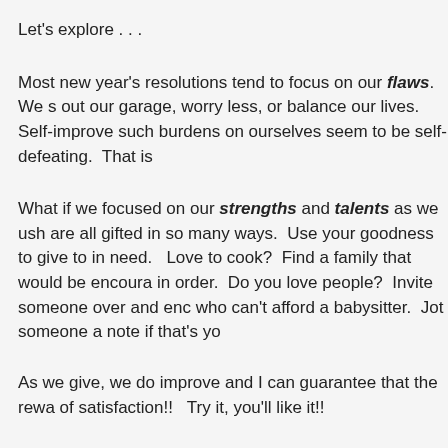Let's explore . . .
Most new year's resolutions tend to focus on our flaws.  We s out our garage, worry less, or balance our lives.  Self-improve such burdens on ourselves seem to be self-defeating.  That is
What if we focused on our strengths and talents as we ush are all gifted in so many ways.  Use your goodness to give to in need.   Love to cook?  Find a family that would be encoura in order.  Do you love people?  Invite someone over and enc who can't afford a babysitter.  Jot someone a note if that's yo
As we give, we do improve and I can guarantee that the rewa of satisfaction!!   Try it, you'll like it!!